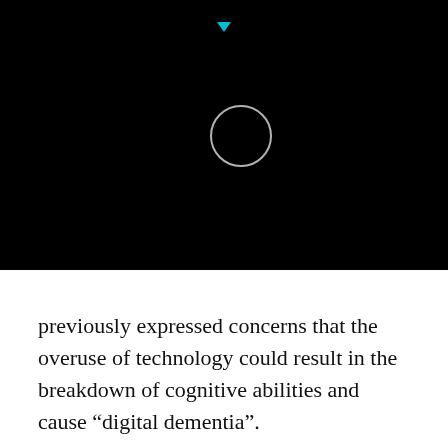[Figure (screenshot): Black background with a white circle outline and a small cyan/teal downward-pointing triangle at the top center, resembling a mobile video player loading screen.]
previously expressed concerns that the overuse of technology could result in the breakdown of cognitive abilities and cause “digital dementia”.